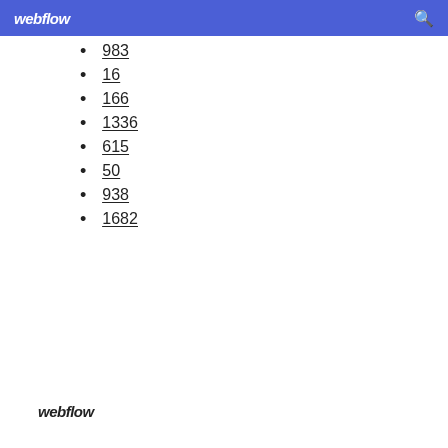webflow
983
16
166
1336
615
50
938
1682
webflow